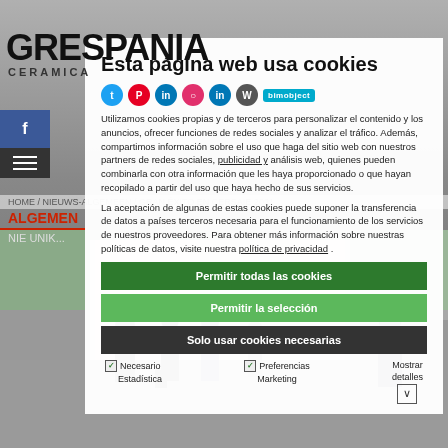[Figure (screenshot): Grespania Ceramica website screenshot with cookie consent overlay. Background shows people at a trade fair (Cersaie 2021). Cookie dialog overlays the page with title 'Esta página web usa cookies', explanatory text in Spanish, three action buttons (Permitir todas las cookies, Permitir la selección, Solo usar cookies necesarias), and checkboxes for Necesario, Estadística, Preferencias, Marketing, and Mostrar detalles.]
Esta página web usa cookies
Utilizamos cookies propias y de terceros para personalizar el contenido y los anuncios, ofrecer funciones de redes sociales y analizar el tráfico. Además, compartimos información sobre el uso que haga del sitio web con nuestros partners de redes sociales, publicidad y análisis web, quienes pueden combinarla con otra información que les haya proporcionado o que hayan recopilado a partir del uso que haya hecho de sus servicios.
La aceptación de algunas de estas cookies puede suponer la transferencia de datos a países terceros necesaria para el funcionamiento de los servicios de nuestros proveedores. Para obtener más información sobre nuestras políticas de datos, visite nuestra política de privacidad .
Permitir todas las cookies
Permitir la selección
Solo usar cookies necesarias
☑ Necesario
Estadística
☑ Preferencias
Marketing
Mostrar detalles